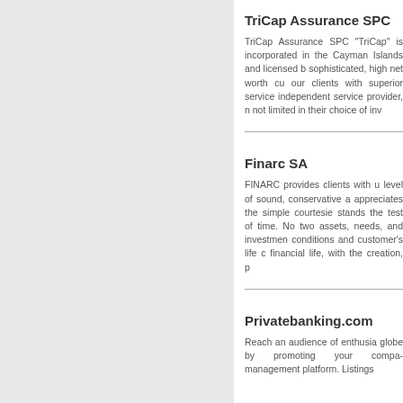TriCap Assurance SPC
TriCap Assurance SPC “TriCap” is incorporated in the Cayman Islands and licensed by… sophisticated, high net worth cu… our clients with superior service… independent service provider, n… not limited in their choice of inv…
Finarc SA
FINARC provides clients with u… level of sound, conservative a… appreciates the simple courtesie… stands the test of time. No two… assets, needs, and investmen… conditions and customer’s life c… financial life, with the creation, p…
Privatebanking.com
Reach an audience of enthusia… globe by promoting your compa… management platform. Listings…